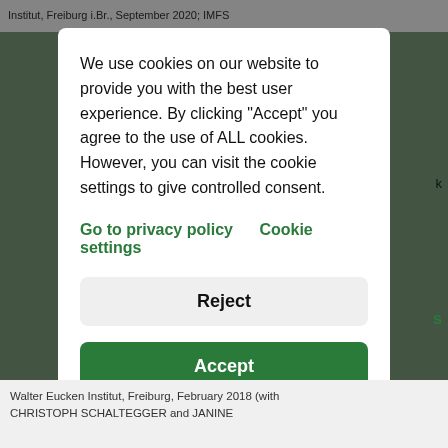Institut, Freiburg i.Br., September 2020; IMFS
We use cookies on our website to provide you with the best user experience. By clicking "Accept" you agree to the use of ALL cookies. However, you can visit the cookie settings to give controlled consent.
Go to privacy policy   Cookie settings
Reject
Accept
Walter Eucken Institut, Freiburg, February 2018 (with CHRISTOPH SCHALTEGGER and JANINE